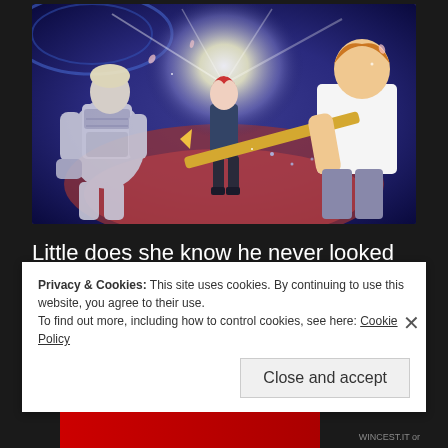[Figure (illustration): Anime scene showing three characters: a figure in silver/white mechanical armor on the left, a character with red and white hair standing in the center bathed in bright light, and a character with orange/brown hair on the right holding a golden weapon. The background features blue cosmic/space elements and red dramatic lighting.]
Little does she know he never looked down on her; in fact, as he was being mechanically prepared to
Privacy & Cookies: This site uses cookies. By continuing to use this website, you agree to their use.
To find out more, including how to control cookies, see here: Cookie Policy
Close and accept